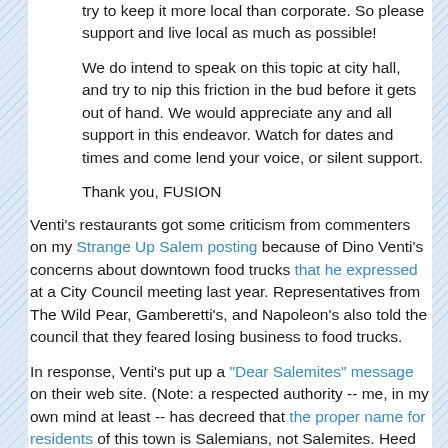try to keep it more local than corporate. So please support and live local as much as possible!
We do intend to speak on this topic at city hall, and try to nip this friction in the bud before it gets out of hand. We would appreciate any and all support in this endeavor. Watch for dates and times and come lend your voice, or silent support.
Thank you, FUSION
Venti's restaurants got some criticism from commenters on my Strange Up Salem posting because of Dino Venti's concerns about downtown food trucks that he expressed at a City Council meeting last year. Representatives from The Wild Pear, Gamberetti's, and Napoleon's also told the council that they feared losing business to food trucks.
In response, Venti's put up a "Dear Salemites" message on their web site. (Note: a respected authority -- me, in my own mind at least -- has decreed that the proper name for residents of this town is Salemians, not Salemites. Heed his/my words, Salemians!)